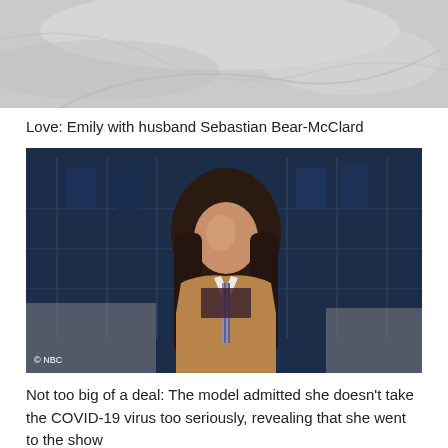[Figure (photo): Top portion of a photo showing white fabric/bedding, partially cropped]
Love: Emily with husband Sebastian Bear-McClard
[Figure (photo): Emily Ratajkowski sitting on a talk show set, wearing a tan blazer over a striped shirt and dark top, with a city backdrop behind her. NBC watermark in bottom left corner.]
Not too big of a deal: The model admitted she doesn't take the COVID-19 virus too seriously, revealing that she went to the show